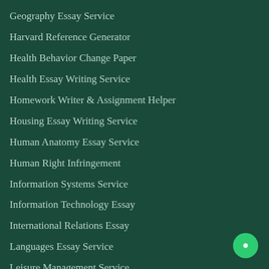Geography Essay Service
Harvard Reference Generator
Health Behavior Change Paper
Health Essay Writing Service
Homework Writer & Assignment Helper
Housing Essay Writing Service
Human Anatomy Essay Service
Human Right Infringement
Information Systems Service
Information Technology Essay
International Relations Essay
Languages Essay Service
Leisure Management Service